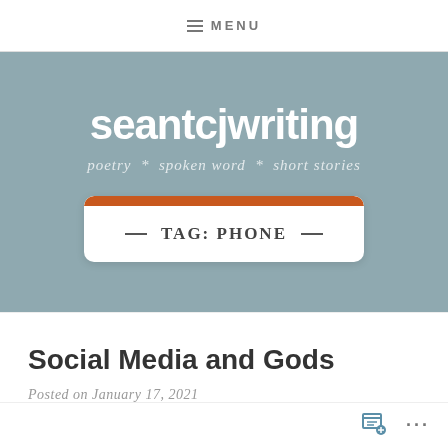MENU
seantcjwriting
poetry * spoken word * short stories
TAG: PHONE
Social Media and Gods
Posted on January 17, 2021